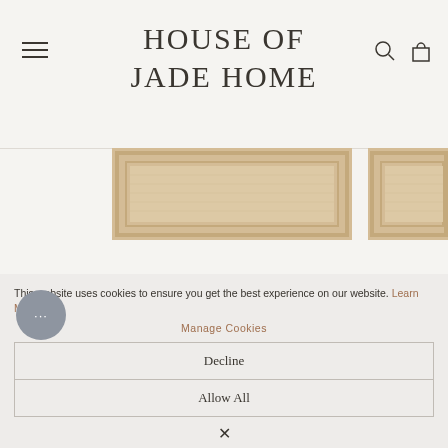HOUSE OF JADE HOME
[Figure (photo): Partial view of a light tan/beige woven rug with border detail, centered in the page]
[Figure (photo): Partial view of a second rug on the right edge, cropped]
SERENE ABSTRACT
FROM $32
NEUT
This website uses cookies to ensure you get the best experience on our website. Learn More
Manage Cookies
Decline
Allow All